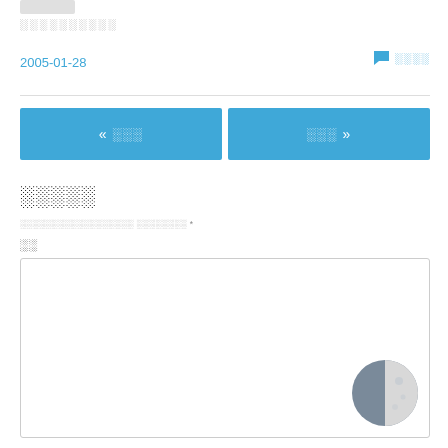░░░░░░░░░░
2005-01-28
░░░░
« 이전
다음 »
댓글달기
이메일은공개되지않습니다 필수항목 *
내용